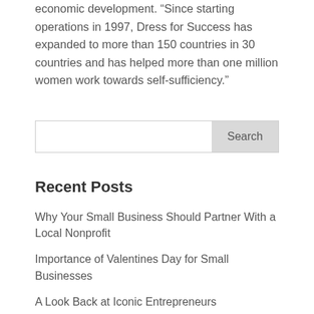economic development. “Since starting operations in 1997, Dress for Success has expanded to more than 150 countries in 30 countries and has helped more than one million women work towards self-sufficiency.”
Search
Recent Posts
Why Your Small Business Should Partner With a Local Nonprofit
Importance of Valentines Day for Small Businesses
A Look Back at Iconic Entrepreneurs
How Your Business Can Invest in Your Local Community
Best Eco-Friendly Charities